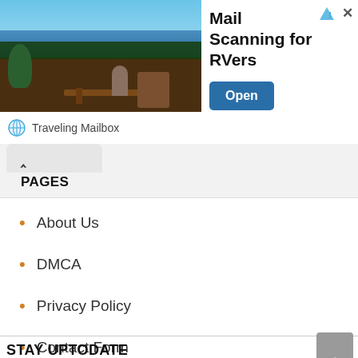[Figure (screenshot): Advertisement banner for 'Mail Scanning for RVers' by Traveling Mailbox, with a tropical scene image on the left, bold title text, and an 'Open' button on the right. Controls for ad icon and close (x) in top-right corner.]
PAGES
About Us
DMCA
Privacy Policy
Contact Form
STAY UPTODATE